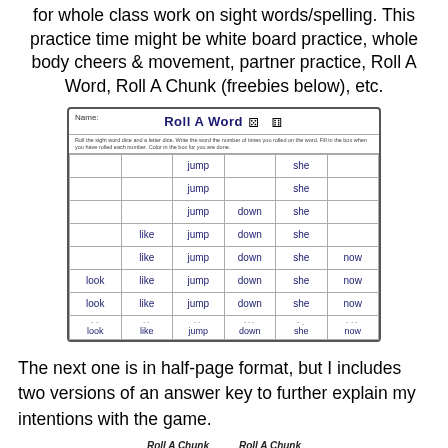for whole class work on sight words/spelling. This practice time might be white board practice, whole body cheers & movement, partner practice, Roll A Word, Roll A Chunk (freebies below), etc.
[Figure (illustration): A 'Roll A Word' worksheet showing a table with sight words: look, like, jump, down, she, now arranged in columns with increasing fullness per row, simulating dice roll results. Dice icons appear in the header.]
The next one is in half-page format, but I includes two versions of an answer key to further explain my intentions with the game.
Roll A Chunk    Roll A Chunk